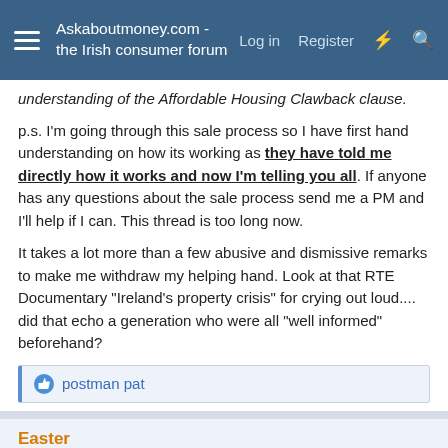Askaboutmoney.com - the Irish consumer forum
understanding of the Affordable Housing Clawback clause.
p.s. I'm going through this sale process so I have first hand understanding on how its working as they have told me directly how it works and now I'm telling you all. If anyone has any questions about the sale process send me a PM and I'll help if I can. This thread is too long now.
It takes a lot more than a few abusive and dismissive remarks to make me withdraw my helping hand. Look at that RTE Documentary "Ireland's property crisis" for crying out loud.... did that echo a generation who were all "well informed" beforehand?
postman pat
Easter
Registered User